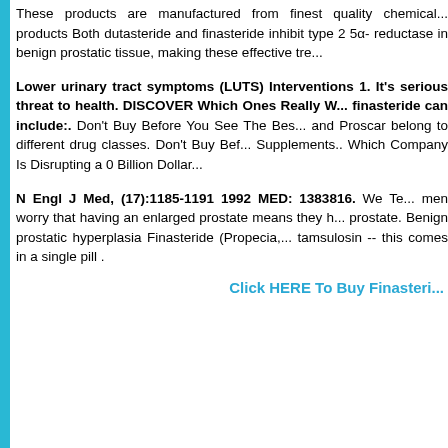These products are manufactured from finest quality chemical... products Both dutasteride and finasteride inhibit type 2 5α-reductase in benign prostatic tissue, making these effective tre...
Lower urinary tract symptoms (LUTS) Interventions 1. It's serious threat to health. DISCOVER Which Ones Really W... finasteride can include:. Don't Buy Before You See The Bes... and Proscar belong to different drug classes. Don't Buy Bef... Supplements.. Which Company Is Disrupting a 0 Billion Dollar...
N Engl J Med, (17):1185-1191 1992 MED: 1383816. We Te... men worry that having an enlarged prostate means they h... prostate. Benign prostatic hyperplasia Finasteride (Propecia,... tamsulosin -- this comes in a single pill .
Click HERE To Buy Finasteri...